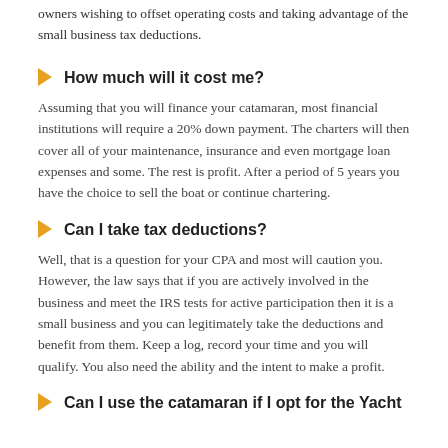owners wishing to offset operating costs and taking advantage of the small business tax deductions.
How much will it cost me?
Assuming that you will finance your catamaran, most financial institutions will require a 20% down payment. The charters will then cover all of your maintenance, insurance and even mortgage loan expenses and some. The rest is profit. After a period of 5 years you have the choice to sell the boat or continue chartering.
Can I take tax deductions?
Well, that is a question for your CPA and most will caution you. However, the law says that if you are actively involved in the business and meet the IRS tests for active participation then it is a small business and you can legitimately take the deductions and benefit from them. Keep a log, record your time and you will qualify. You also need the ability and the intent to make a profit.
Can I use the catamaran if I opt for the Yacht